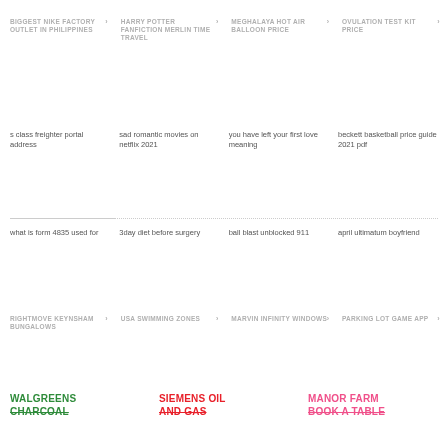BIGGEST NIKE FACTORY OUTLET IN PHILIPPINES
HARRY POTTER FANFICTION MERLIN TIME TRAVEL
MEGHALAYA HOT AIR BALLOON PRICE
OVULATION TEST KIT PRICE
s class freighter portal address
sad romantic movies on netflix 2021
you have left your first love meaning
beckett basketball price guide 2021 pdf
what is form 4835 used for
3day diet before surgery
ball blast unblocked 911
april ultimatum boyfriend
RIGHTMOVE KEYNSHAM BUNGALOWS
USA SWIMMING ZONES
MARVIN INFINITY WINDOWS
PARKING LOT GAME APP
WALGREENS CHARCOAL
SIEMENS OIL AND GAS
MANOR FARM BOOK A TABLE